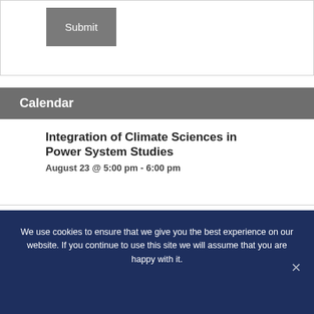Submit
Calendar
Integration of Climate Sciences in Power System Studies
August 23 @ 5:00 pm - 6:00 pm
Getting to Win-Win in Conflict!
August 24 @ 1:00 pm - 4:00 pm
We use cookies to ensure that we give you the best experience on our website. If you continue to use this site we will assume that you are happy with it.